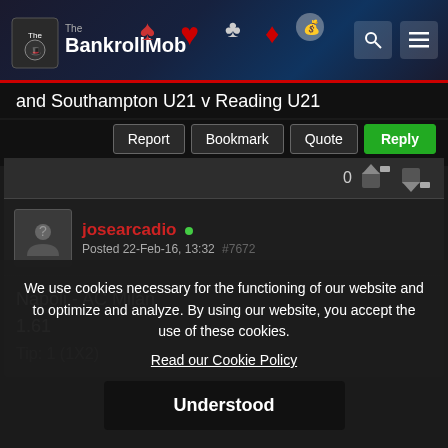[Figure (screenshot): The BankrollMob website header with logo, search icon, and hamburger menu icon on dark background with casino-themed graphics]
and Southampton U21 v Reading U21
Report  Bookmark  Quote  Reply
josearcadio • Posted 22-Feb-16, 13:32  #7672
Napoli - AC Milan
1.61
Tip: 1 (1X2)
We use cookies necessary for the functioning of our website and to optimize and analyze. By using our website, you accept the use of these cookies.
Read our Cookie Policy
Understood